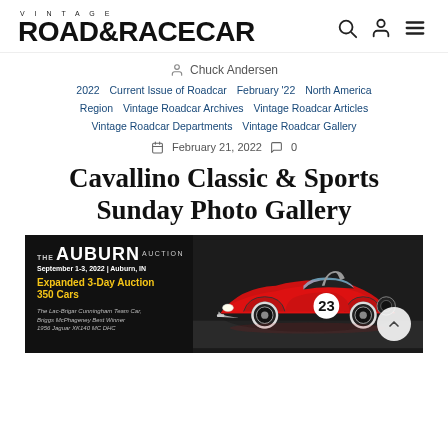VINTAGE ROAD & RACECAR
Chuck Andersen
2022  Current Issue of Roadcar  February '22  North America Region  Vintage Roadcar Archives  Vintage Roadcar Articles  Vintage Roadcar Departments  Vintage Roadcar Gallery
February 21, 2022  0
Cavallino Classic & Sports Sunday Photo Gallery
[Figure (photo): Advertisement for The Auburn Auction, September 1-3 2022, Auburn IN. Features a red vintage Jaguar XK140 MC DHC race car with number 23, on a dark background. Text reads: Expanded 3-Day Auction 350 Cars. The Lac-Brigar Cunningham Team Car, Briggs McPhageney Best Winner, 1956 Jaguar XK140 MC DHC.]